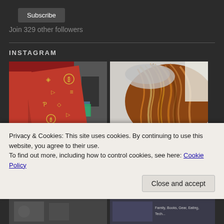Subscribe
Join 329 other followers
INSTAGRAM
[Figure (photo): Red card with gold cryptocurrency icons (Bitcoin, Ethereum, Tron, Stellar, etc.)]
[Figure (photo): Close-up of brown/orange textured hair or fiber]
Privacy & Cookies: This site uses cookies. By continuing to use this website, you agree to their use.
To find out more, including how to control cookies, see here: Cookie Policy
Close and accept
[Figure (photo): Partial view of bottom-left photo]
[Figure (photo): Partial view of bottom-right photo with text overlay mentioning books]